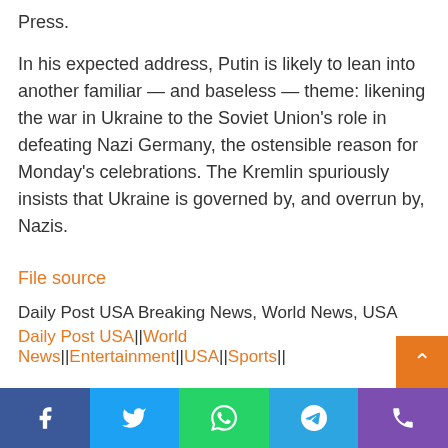Press.
In his expected address, Putin is likely to lean into another familiar — and baseless — theme: likening the war in Ukraine to the Soviet Union's role in defeating Nazi Germany, the ostensible reason for Monday's celebrations. The Kremlin spuriously insists that Ukraine is governed by, and overrun by, Nazis.
File source
Daily Post USA Breaking News, World News, USA
Daily Post USA||World News||Entertainment||USA||Sports||
No related posts.